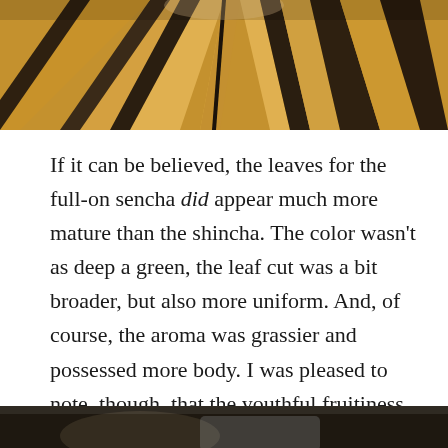[Figure (photo): Close-up photo of wooden/striped textured surface, likely a wooden basket or bowl, viewed from above. Warm brown and tan tones with dark lines.]
If it can be believed, the leaves for the full-on sencha did appear much more mature than the shincha. The color wasn't as deep a green, the leaf cut was a bit broader, but also more uniform. And, of course, the aroma was grassier and possessed more body. I was pleased to note, though, that the youthful fruitiness was still there, if only slightly dialed down.
[Figure (photo): Partial view of a photo at the bottom of the page, showing a dark and blurred scene, possibly tea-related objects.]